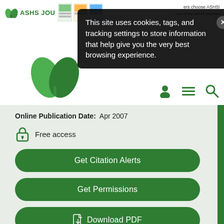[Figure (screenshot): ASHS Journal website header with logo and journal cover thumbnails]
This site uses cookies, tags, and tracking settings to store information that help give you the very best browsing experience.
[Figure (logo): Large green ASHS leaf logo in website header]
[Figure (screenshot): Navigation icons: user profile, hamburger menu, search]
Online Publication Date:  Apr 2007
Free access
Get Citation Alerts
Get Permissions
Download PDF